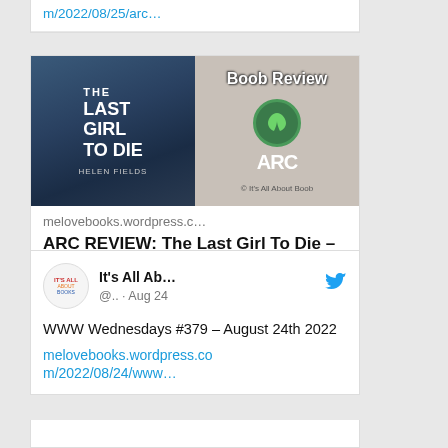m/2022/08/25/arc…
[Figure (photo): Book cover of The Last Girl To Die by Helen Fields on the left, and a Book Review ARC badge on the right]
melovebooks.wordpress.c…
ARC REVIEW: The Last Girl To Die – by Helen Fields
[Figure (other): Comment and like icons]
It's All Ab… @.. · Aug 24
WWW Wednesdays #379 – August 24th 2022
melovebooks.wordpress.com/2022/08/24/www…